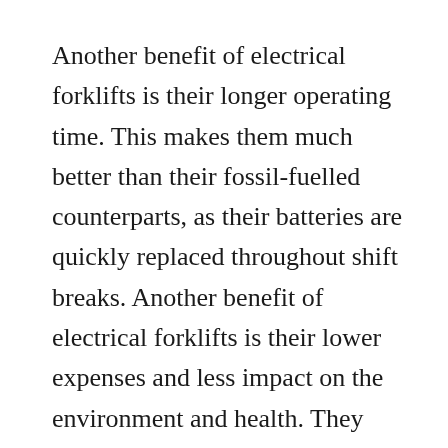Another benefit of electrical forklifts is their longer operating time. This makes them much better than their fossil-fuelled counterparts, as their batteries are quickly replaced throughout shift breaks. Another benefit of electrical forklifts is their lower expenses and less impact on the environment and health. They likewise require less maintenance than their counterparts and are more effective. Therefore, they’re the best option for numerous organizations. If you’re in the market for a new lift, consider acquiring an